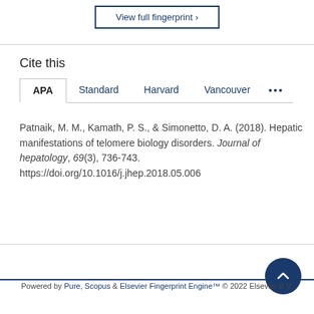View full fingerprint ›
Cite this
APA | Standard | Harvard | Vancouver | ...
Patnaik, M. M., Kamath, P. S., & Simonetto, D. A. (2018). Hepatic manifestations of telomere biology disorders. Journal of hepatology, 69(3), 736-743. https://doi.org/10.1016/j.jhep.2018.05.006
Powered by Pure, Scopus & Elsevier Fingerprint Engine™ © 2022 Elsevier B.V.